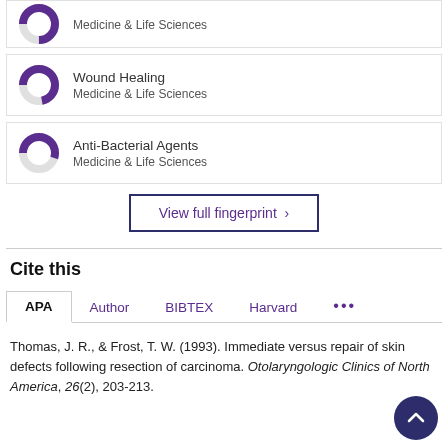[Figure (donut-chart): Partially filled donut/ring chart in purple, cropped at top, for an unnamed topic, Medicine & Life Sciences]
Medicine & Life Sciences
[Figure (donut-chart): Approximately 75% filled donut chart in purple for Wound Healing, Medicine & Life Sciences]
Wound Healing
Medicine & Life Sciences
[Figure (donut-chart): Approximately 55% filled donut chart in purple for Anti-Bacterial Agents, Medicine & Life Sciences]
Anti-Bacterial Agents
Medicine & Life Sciences
View full fingerprint >
Cite this
APA  Author  BIBTEX  Harvard  ...
Thomas, J. R., & Frost, T. W. (1993). Immediate versus repair of skin defects following resection of carcinoma. Otolaryngologic Clinics of North America, 26(2), 203-213.